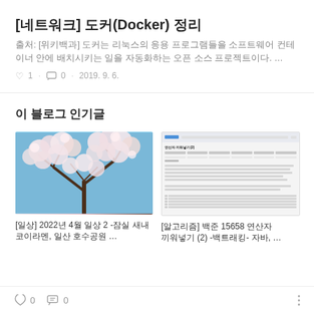[네트워크] 도커(Docker) 정리
출처: [위키백과] 도커는 리눅스의 응용 프로그램들을 소프트웨어 컨테이너 안에 배치시키는 일을 자동화하는 오픈 소스 프로젝트이다. …
♡ 1  · 댓글 0  · 2019. 9. 6.
이 블로그 인기글
[Figure (photo): Cherry blossom tree with white flowers against a blue sky]
[일상] 2022년 4월 일상 2 -잠실 새내 코이라멘, 일산 호수공원 …
[Figure (screenshot): Screenshot of a web page with a table titled 연산자 끼워넣기(2)]
[알고리즘] 백준 15658 연산자 끼워넣기 (2) -백트래킹- 자바, …
♡ 0    댓글 0